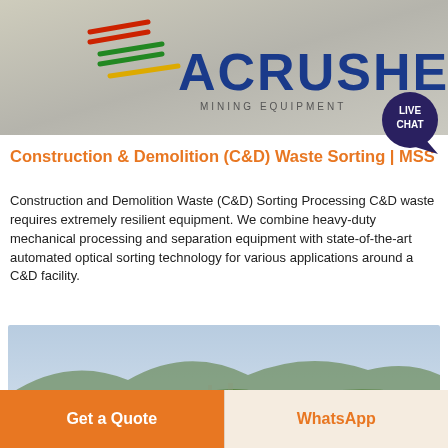[Figure (logo): ACRUSHER Mining Equipment logo with colored stripe accents on a gray banner background]
[Figure (infographic): Live Chat bubble — dark navy circle with LIVE CHAT text and speech bubble tail]
Construction & Demolition (C&D) Waste Sorting | MSS
Construction and Demolition Waste (C&D) Sorting Processing C&D waste requires extremely resilient equipment. We combine heavy-duty mechanical processing and separation equipment with state-of-the-art automated optical sorting technology for various applications around a C&D facility.
Learn More →
[Figure (photo): Aerial/landscape photo of green mountainous terrain, likely a quarry or mining site]
Get a Quote
WhatsApp